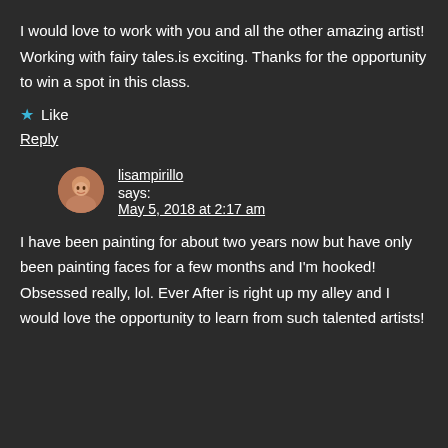I would love to work with you and all the other amazing artist! Working with fairy tales.is exciting. Thanks for the opportunity to win a spot in this class.
★ Like
Reply
lisampirillo says: May 5, 2018 at 2:17 am
I have been painting for about two years now but have only been painting faces for a few months and I'm hooked! Obsessed really, lol. Ever After is right up my alley and I would love the opportunity to learn from such talented artists!